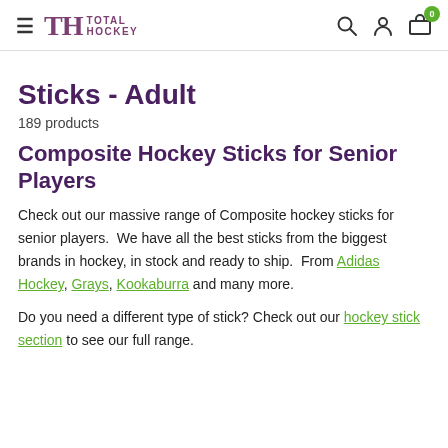Total Hockey — navigation header with search, user, and cart icons
Sticks - Adult
189 products
Composite Hockey Sticks for Senior Players
Check out our massive range of Composite hockey sticks for senior players.  We have all the best sticks from the biggest brands in hockey, in stock and ready to ship.  From Adidas Hockey, Grays, Kookaburra and many more.
Do you need a different type of stick? Check out our hockey stick section to see our full range.